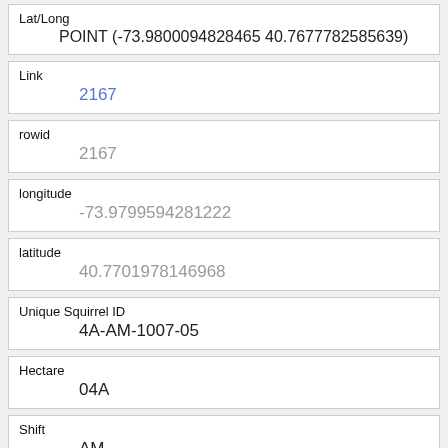| Field | Value |
| --- | --- |
| Lat/Long | POINT (-73.9800094828465 40.7677782585639) |
| Link | 2167 |
| rowid | 2167 |
| longitude | -73.9799594281222 |
| latitude | 40.7701978146968 |
| Unique Squirrel ID | 4A-AM-1007-05 |
| Hectare | 04A |
| Shift | AM |
| Date | 10072018 |
| Hectare Squirrel Number |  |